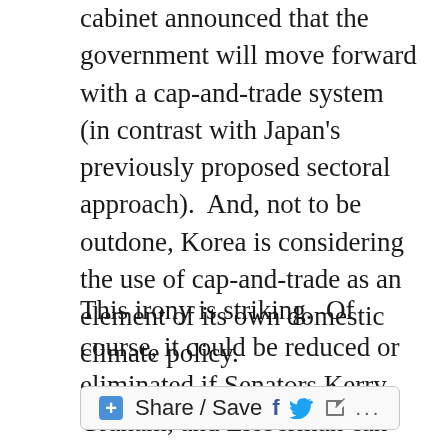cabinet announced that the government will move forward with a cap-and-trade system (in contrast with Japan's previously proposed sectoral approach).  And, not to be outdone, Korea is considering the use of cap-and-trade as an element of its own domestic climate policy.
This irony is striking.  Of course, it could be reduced or eliminated if Senators Kerry, Graham, and Lieberman can use their much-anticipated new climate proposal to pull victory from the jaws of anticipated defeat.   Only time will tell.
[Figure (other): Share / Save social sharing bar with Facebook, Twitter, and forward icons]